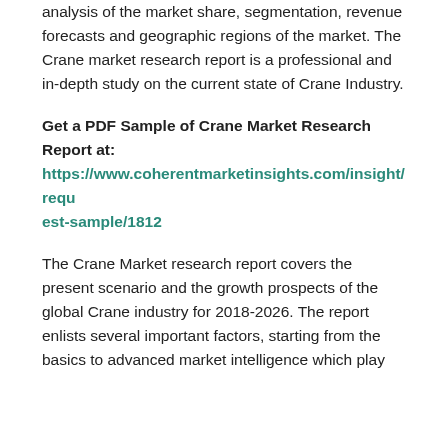analysis of the market share, segmentation, revenue forecasts and geographic regions of the market. The Crane market research report is a professional and in-depth study on the current state of Crane Industry.
Get a PDF Sample of Crane Market Research Report at:
https://www.coherentmarketinsights.com/insight/request-sample/1812
The Crane Market research report covers the present scenario and the growth prospects of the global Crane industry for 2018-2026. The report enlists several important factors, starting from the basics to advanced market intelligence which play